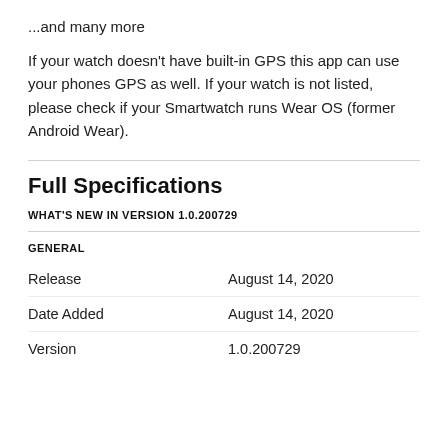...and many more
If your watch doesn't have built-in GPS this app can use your phones GPS as well. If your watch is not listed, please check if your Smartwatch runs Wear OS (former Android Wear).
Full Specifications
WHAT'S NEW IN VERSION 1.0.200729
GENERAL
|  |  |
| --- | --- |
| Release | August 14, 2020 |
| Date Added | August 14, 2020 |
| Version | 1.0.200729 |